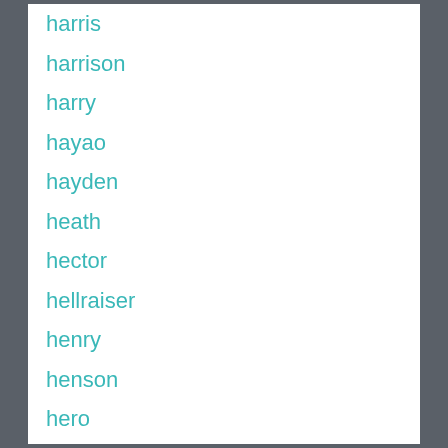harris
harrison
harry
hayao
hayden
heath
hector
hellraiser
henry
henson
hero
hiddleston
hideaki